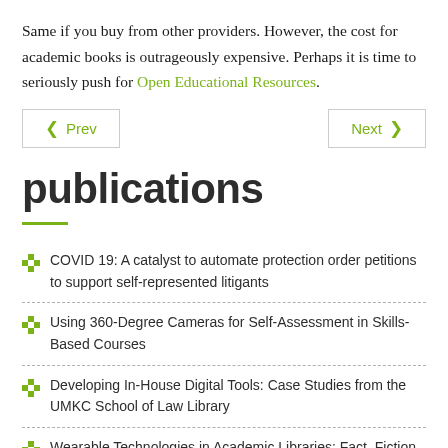Same if you buy from other providers. However, the cost for academic books is outrageously expensive. Perhaps it is time to seriously push for Open Educational Resources.
[Figure (other): Navigation buttons: Prev and Next]
publications
COVID 19: A catalyst to automate protection order petitions to support self-represented litigants
Using 360-Degree Cameras for Self-Assessment in Skills-Based Courses
Developing In-House Digital Tools: Case Studies from the UMKC School of Law Library
Wearable Technologies in Academic Libraries: Fact, Fiction